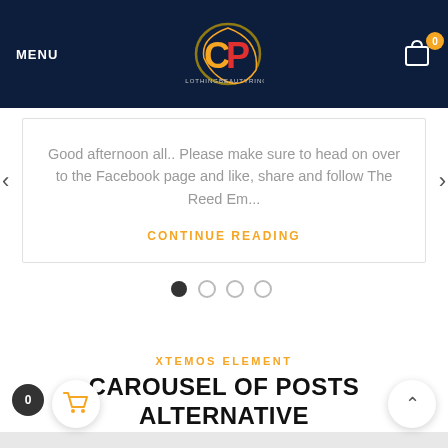MENU | CB Logo | 0
Good afternoon all.. Please make sure to head on over to the Facebook page and like, share and follow The Reed Em...
CONTINUE READING
[Figure (other): Carousel pagination dots: 4 dots, first filled]
XTEMOS ELEMENT
CAROUSEL OF POSTS ALTERNATIVE